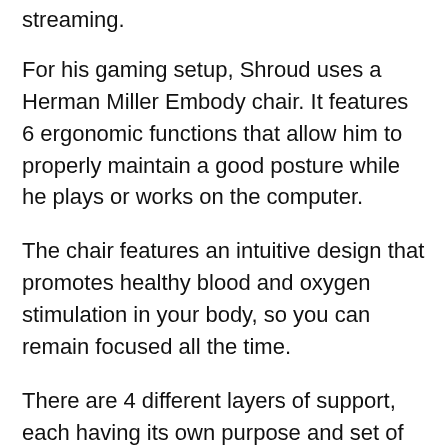streaming.
For his gaming setup, Shroud uses a Herman Miller Embody chair. It features 6 ergonomic functions that allow him to properly maintain a good posture while he plays or works on the computer.
The chair features an intuitive design that promotes healthy blood and oxygen stimulation in your body, so you can remain focused all the time.
There are 4 different layers of support, each having its own purpose and set of rules. Designed for those that play or work for long hours at a time, the Herman miller chair comes